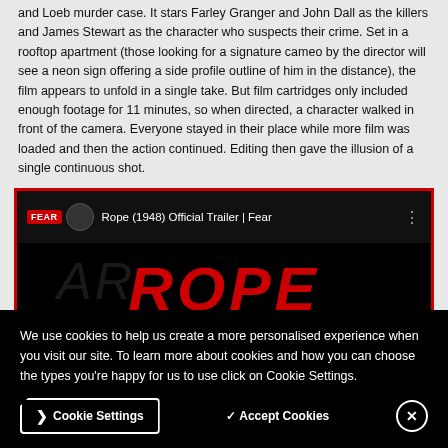and Loeb murder case. It stars Farley Granger and John Dall as the killers and James Stewart as the character who suspects their crime. Set in a rooftop apartment (those looking for a signature cameo by the director will see a neon sign offering a side profile outline of him in the distance), the film appears to unfold in a single take. But film cartridges only included enough footage for 11 minutes, so when directed, a character walked in front of the camera. Everyone stayed in their place while more film was loaded and then the action continued. Editing then gave the illusion of a single continuous shot.
[Figure (screenshot): YouTube/Fear video player showing 'Rope (1948) Official Trailer | Fear' with ROPE logo in red on black background and film thumbnails below]
We use cookies to help us create a more personalised experience when you visit our site. To learn more about cookies and how you can choose the types you're happy for us to use click on Cookie Settings.